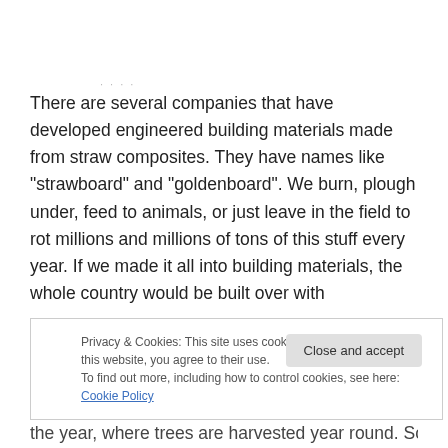There are several companies that have developed engineered building materials made from straw composites. They have names like “strawboard” and “goldenboard”. We burn, plough under, feed to animals, or just leave in the field to rot millions and millions of tons of this stuff every year. If we made it all into building materials, the whole country would be built over with
Privacy & Cookies: This site uses cookies. By continuing to use this website, you agree to their use.
To find out more, including how to control cookies, see here: Cookie Policy
Close and accept
the year, where trees are harvested year round. So the